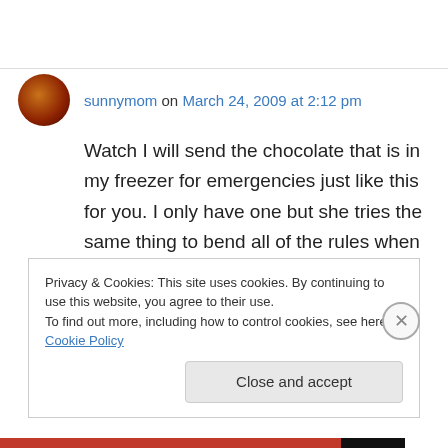sunnymom on March 24, 2009 at 2:12 pm
Watch I will send the chocolate that is in my freezer for emergencies just like this for you. I only have one but she tries the same thing to bend all of the rules when she is sick. I feel for you cuz I just went thru a weekend like that recently
Privacy & Cookies: This site uses cookies. By continuing to use this website, you agree to their use. To find out more, including how to control cookies, see here: Cookie Policy
Close and accept